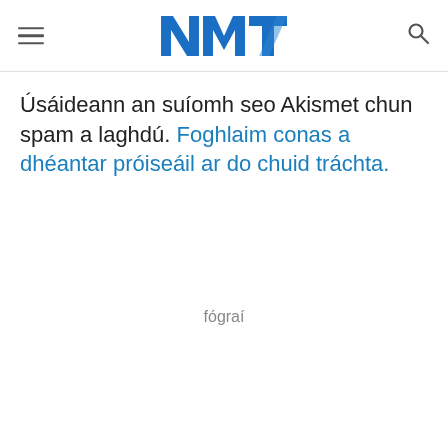NMT logo with hamburger menu and search icon
Úsáideann an suíomh seo Akismet chun spam a laghdú. Foghlaim conas a dhéantar próiseáil ar do chuid tráchta.
fógraí